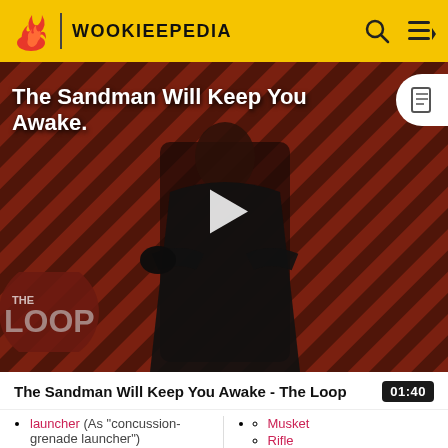WOOKIEEPEDIA
[Figure (screenshot): Video thumbnail for 'The Sandman Will Keep You Awake - The Loop' showing a dark figure in black against a diagonal striped red-brown background with THE LOOP text overlay and a play button in the center]
The Sandman Will Keep You Awake - The Loop  01:40
launcher (As "concussion-grenade launcher")
Musket
Rifle
Submachinegun
Grasper arm
Space mine (As "orbital mine")
Guided missile